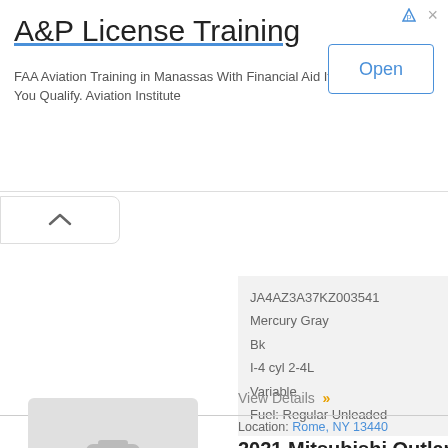[Figure (other): Advertisement banner for A&P License Training]
A&P License Training
FAA Aviation Training in Manassas With Financial Aid If You Qualify. Aviation Institute
Open
[Figure (other): Collapse/toggle tab with upward chevron]
JA4AZ3A37KZ003541
Mercury Gray
Bk
I-4 cyl 2-4L
Variable
Fuel: Regular Unleaded
View Details »
Location: Rome, NY 13440
2021 Mitsubishi Outlander
JAMES MITSUBISHI
View details about this vehicle
[Figure (photo): Car photo placeholder with camera icon]